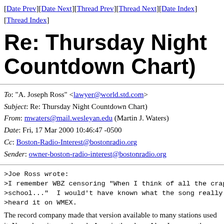[Date Prev][Date Next][Thread Prev][Thread Next][Date Index][Thread Index]
Re: Thursday Night Countdown Chart)
To: "A. Joseph Ross" <lawyer@world.std.com>
Subject: Re: Thursday Night Countdown Chart)
From: mwaters@mail.wesleyan.edu (Martin J. Waters)
Date: Fri, 17 Mar 2000 10:46:47 -0500
Cc: Boston-Radio-Interest@bostonradio.org
Sender: owner-boston-radio-interest@bostonradio.org
>Joe Ross wrote:
>I remember WBZ censoring "When I think of all the crap I
>school..."  I would't have known what the song really sa
>heard it on WMEX.
The record company made that version available to
many stations used it. Never hear it now, though. A quai
other days. Also, I suppose the practical matter is that